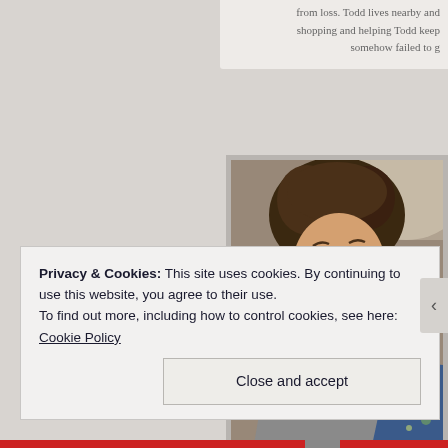from loss. Todd lives nearby and shopping and helping Todd keep somehow failed to g
[Figure (photo): A person with curly hair laughing, wearing a grey shirt, sitting next to someone in a floral blue shirt]
Privacy & Cookies: This site uses cookies. By continuing to use this website, you agree to their use.
To find out more, including how to control cookies, see here: Cookie Policy
Close and accept